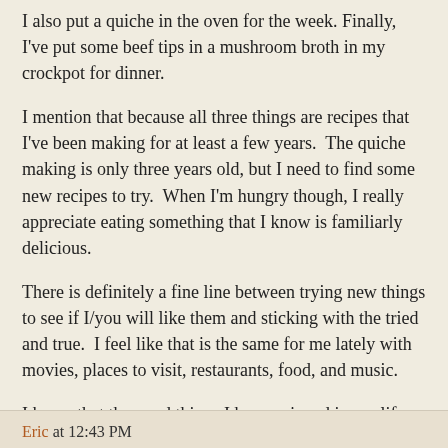I also put a quiche in the oven for the week. Finally, I've put some beef tips in a mushroom broth in my crockpot for dinner.
I mention that because all three things are recipes that I've been making for at least a few years.  The quiche making is only three years old, but I need to find some new recipes to try.  When I'm hungry though, I really appreciate eating something that I know is familiarly delicious.
There is definitely a fine line between trying new things to see if I/you will like them and sticking with the tried and true.  I feel like that is the same for me lately with movies, places to visit, restaurants, food, and music.
I know that the good things I have enjoyed in my life, though, have all come from being exposed to them in my travels and my experiments.
Today, I stuck with the stuff that was familiar.  Tomorrow and the days ahead, ready to try new things.
Eric at 12:43 PM